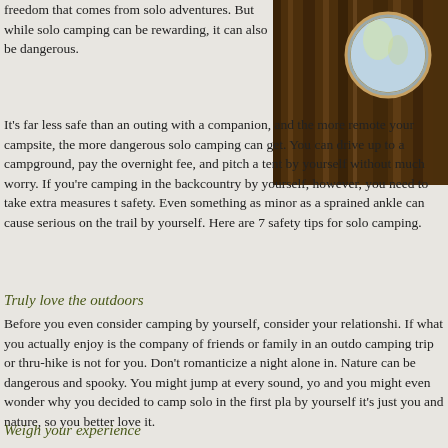freedom that comes from solo adventures. But while solo camping can be rewarding, it can also be dangerous.
[Figure (photo): Close-up photo of tree bark texture with a circular compass or lens element visible in the upper portion, showing blue sky reflection]
It's far less safe than an outing with a companion, and the more remote your campsite, the more dangerous solo camping can get. You can drive up to a campground, pay the overnight fee, and pitch a tent by yourself without much worry. If you're camping in the backcountry by yourself, however, you need to take extra measures to safety. Even something as minor as a sprained ankle can cause serious on the trail by yourself. Here are 7 safety tips for solo camping.
Truly love the outdoors
Before you even consider camping by yourself, consider your relationship. If what you actually enjoy is the company of friends or family in an outdoor camping trip or thru-hike is not for you. Don't romanticize a night alone in. Nature can be dangerous and spooky. You might jump at every sound, you and you might even wonder why you decided to camp solo in the first place. by yourself it's just you and nature, so you better love it.
Weigh your experience